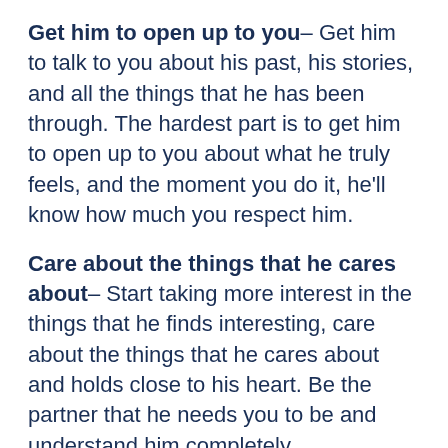Get him to open up to you– Get him to talk to you about his past, his stories, and all the things that he has been through. The hardest part is to get him to open up to you about what he truly feels, and the moment you do it, he'll know how much you respect him.
Care about the things that he cares about– Start taking more interest in the things that he finds interesting, care about the things that he cares about and holds close to his heart. Be the partner that he needs you to be and understand him completely.